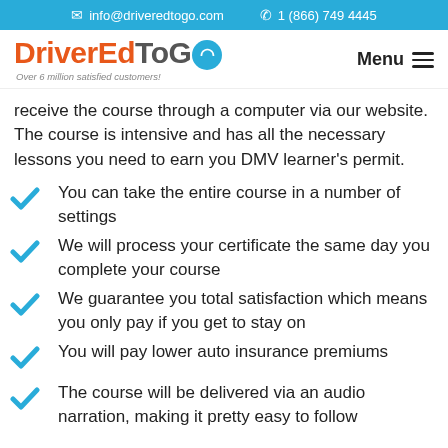info@driveredtogo.com  1 (866) 749 4445
DriverEdToGo – Over 6 million satisfied customers! Menu
receive the course through a computer via our website. The course is intensive and has all the necessary lessons you need to earn you DMV learner's permit.
You can take the entire course in a number of settings
We will process your certificate the same day you complete your course
We guarantee you total satisfaction which means you only pay if you get to stay on
You will pay lower auto insurance premiums
The course will be delivered via an audio narration, making it pretty easy to follow